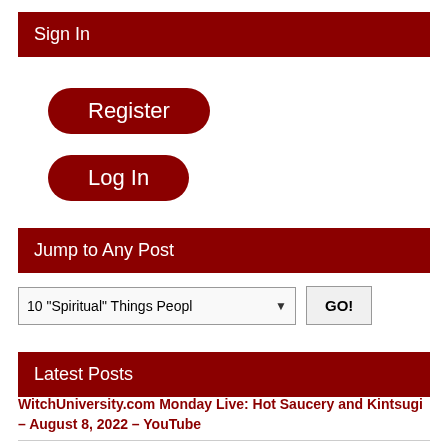Sign In
Register
Log In
Jump to Any Post
10 "Spiritual" Things Peopl   GO!
Latest Posts
WitchUniversity.com Monday Live: Hot Saucery and Kintsugi – August 8, 2022 – YouTube
Trans and nonbinary Witches respond to “Traditional Gardnerian Wica” declaration – News, Paganism, Politics, U.S.,